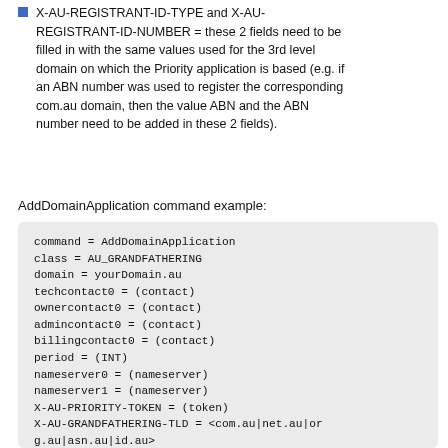X-AU-REGISTRANT-ID-TYPE and X-AU-REGISTRANT-ID-NUMBER = these 2 fields need to be filled in with the same values used for the 3rd level domain on which the Priority application is based (e.g. if an ABN number was used to register the corresponding com.au domain, then the value ABN and the ABN number need to be added in these 2 fields).
AddDomainApplication command example:
[Figure (screenshot): Code block showing AddDomainApplication command example with fields: command, class, domain, techcontact0, ownercontact0, admincontact0, billingcontact0, period, nameserver0, nameserver1, X-AU-PRIORITY-TOKEN, X-AU-GRANDFATHERING-TLD, X-AU-IMPORT-TOKEN, X-AU-REGISTRANT-ID-TYPE, X-AU-REGISTRANT-ID-NUMBER]